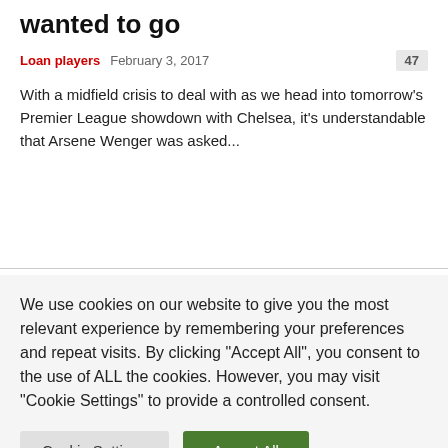wanted to go
Loan players   February 3, 2017   47
With a midfield crisis to deal with as we head into tomorrow's Premier League showdown with Chelsea, it's understandable that Arsene Wenger was asked...
We use cookies on our website to give you the most relevant experience by remembering your preferences and repeat visits. By clicking "Accept All", you consent to the use of ALL the cookies. However, you may visit "Cookie Settings" to provide a controlled consent.